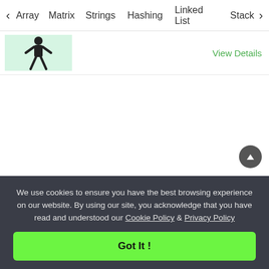< Array   Matrix   Strings   Hashing   Linked List   Stack >
[Figure (illustration): Thumbnail image of a person figure on a light green background]
View Details
We use cookies to ensure you have the best browsing experience on our website. By using our site, you acknowledge that you have read and understood our Cookie Policy & Privacy Policy
Got It !